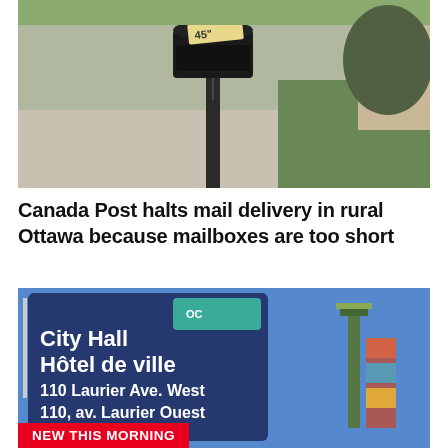[Figure (photo): A black mailbox on a post with a handwritten note reading '45'' attached to it, set on a gravel driveway with green grass and trees in the background.]
Canada Post halts mail delivery in rural Ottawa because mailboxes are too short
[Figure (photo): A blue City of Ottawa directional sign reading: City Hall / Hôtel de ville / 110 Laurier Ave. West / 110, av. Laurier Ouest, with a green OC Transpo logo visible, blue sky and a stadium light tower in the background.]
NEW THIS MORNING